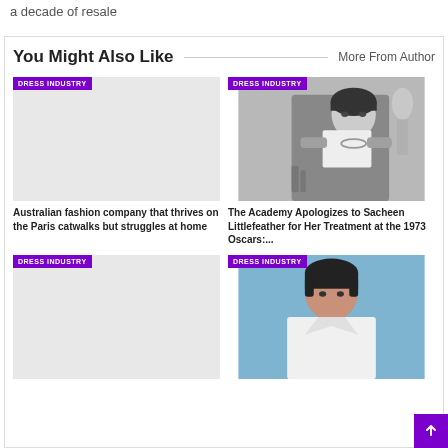a decade of resale
You Might Also Like
More From Author
[Figure (photo): Placeholder image for Australian fashion article, grey rectangle]
DRESS INDUSTRY
Australian fashion company that thrives on the Paris catwalks but struggles at home
[Figure (photo): Black and white photo of Sacheen Littlefeather holding a paper, with an Oscar statue visible in background]
DRESS INDUSTRY
The Academy Apologizes to Sacheen Littlefeather for Her Treatment at the 1973 Oscars:...
[Figure (photo): Placeholder image for third article, grey rectangle with DRESS INDUSTRY badge]
DRESS INDUSTRY
[Figure (photo): Color photo of model with short dark hair wearing white top, blue background, DRESS INDUSTRY badge]
DRESS INDUSTRY